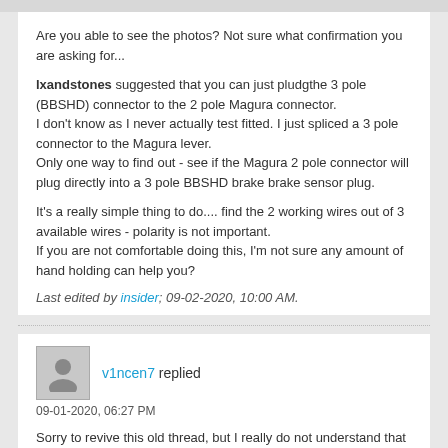Are you able to see the photos? Not sure what confirmation you are asking for...
lxandstones suggested that you can just pludgthe 3 pole (BBSHD) connector to the 2 pole Magura connector.
I don't know as I never actually test fitted. I just spliced a 3 pole connector to the Magura lever.
Only one way to find out - see if the Magura 2 pole connector will plug directly into a 3 pole BBSHD brake brake sensor plug.
It's a really simple thing to do.... find the 2 working wires out of 3 available wires - polarity is not important.
If you are not comfortable doing this, I'm not sure any amount of hand holding can help you?
Last edited by insider; 09-02-2020, 10:00 AM.
v1ncen7 replied
09-01-2020, 06:27 PM
Sorry to revive this old thread, but I really do not understand that last response from Insider.
Can anybody confirm if these mt5e levers will work with a Bafang